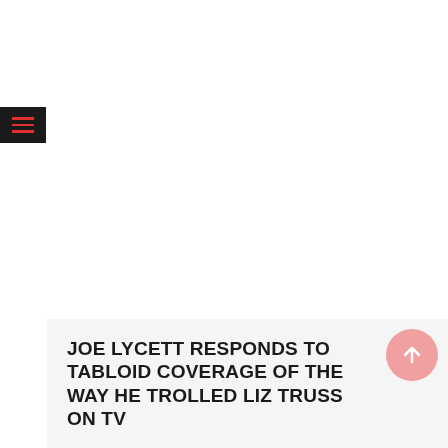[Figure (other): Navigation menu hamburger button icon — dark background with three red horizontal lines]
JOE LYCETT RESPONDS TO TABLOID COVERAGE OF THE WAY HE TROLLED LIZ TRUSS ON TV